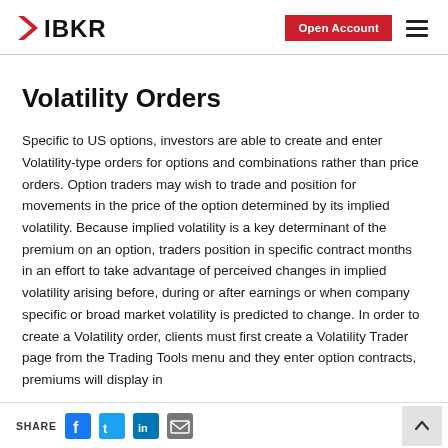IBKR | Open Account
Volatility Orders
Specific to US options, investors are able to create and enter Volatility-type orders for options and combinations rather than price orders. Option traders may wish to trade and position for movements in the price of the option determined by its implied volatility. Because implied volatility is a key determinant of the premium on an option, traders position in specific contract months in an effort to take advantage of perceived changes in implied volatility arising before, during or after earnings or when company specific or broad market volatility is predicted to change. In order to create a Volatility order, clients must first create a Volatility Trader page from the Trading Tools menu and they enter option contracts, premiums will display in
SHARE